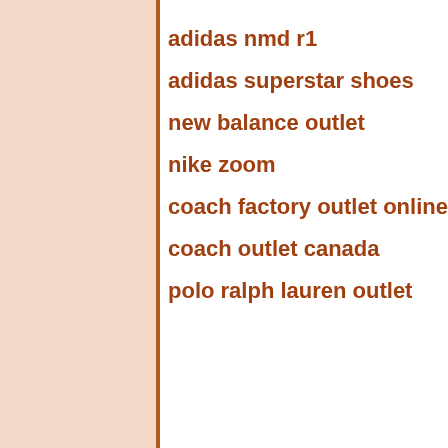adidas nmd r1
adidas superstar shoes
new balance outlet
nike zoom
coach factory outlet online
coach outlet canada
polo ralph lauren outlet